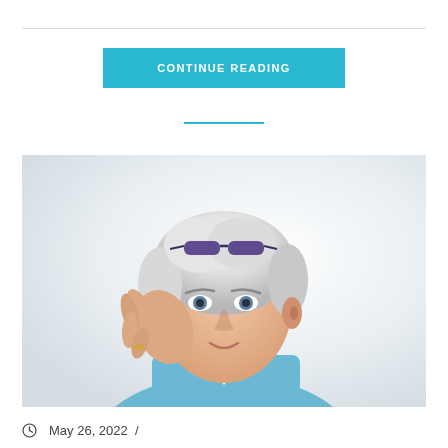CONTINUE READING
[Figure (photo): Elderly woman with white hair and glasses on her head, holding her hand cupped behind her ear as if listening, wearing a light blue blazer over a white shirt, against a white background.]
May 26, 2022  /